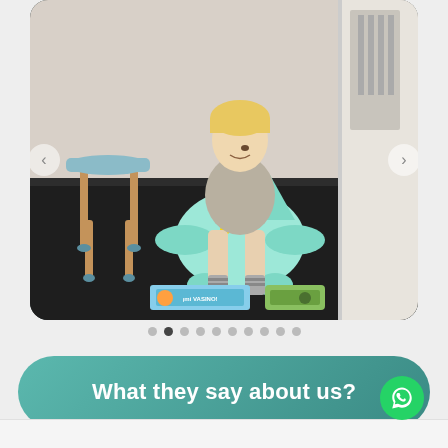[Figure (photo): Young toddler child sitting on a mint green airplane-shaped potty/training toilet on a dark floor, wearing a grey hoodie and striped socks. A small wooden stool is visible to the left. A children's book about potty training is on the floor. Kitchen/play area visible in background.]
What they say about us?